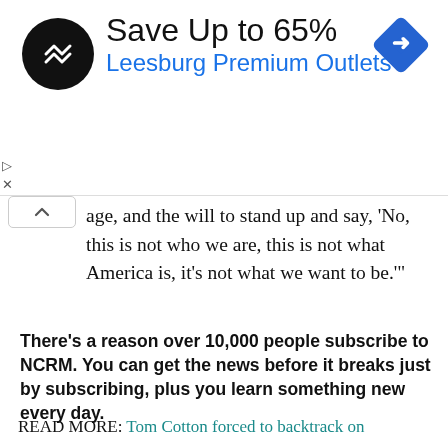[Figure (infographic): Advertisement banner: black circular logo with double arrow symbol, text 'Save Up to 65%' in large black font, 'Leesburg Premium Outlets' in blue font, blue diamond navigation icon on the right]
age, and the will to stand up and say, 'No, this is not who we are, this is not what America is, it's not what we want to be.'"
There's a reason over 10,000 people subscribe to NCRM. You can get the news before it breaks just by subscribing, plus you learn something new every day.
Email Address
Subscribe!
READ MORE: Tom Cotton forced to backtrack on